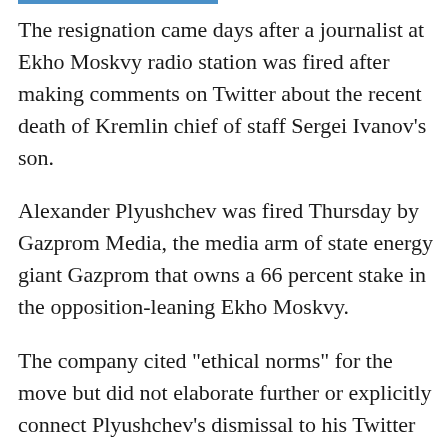The resignation came days after a journalist at Ekho Moskvy radio station was fired after making comments on Twitter about the recent death of Kremlin chief of staff Sergei Ivanov's son.
Alexander Plyushchev was fired Thursday by Gazprom Media, the media arm of state energy giant Gazprom that owns a 66 percent stake in the opposition-leaning Ekho Moskvy.
The company cited "ethical norms" for the move but did not elaborate further or explicitly connect Plyushchev's dismissal to his Twitter comments.
Plyushchev had already landed in hot water recently